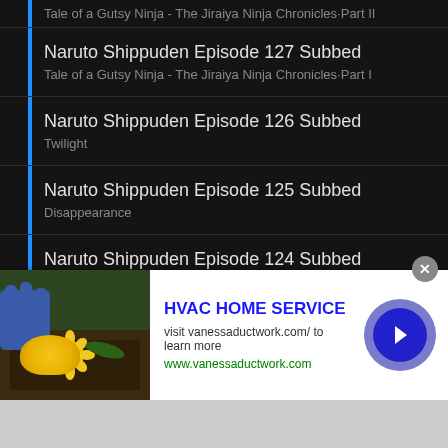Tale of a Gutsy Ninja - The Jiraiya Ninja Chronicles·Part II
Naruto Shippuden Episode 127 Subbed
Tale of a Gutsy Ninja - The Jiraiya Ninja Chronicles·Part I
Naruto Shippuden Episode 126 Subbed
Twilight
Naruto Shippuden Episode 125 Subbed
Disappearance
Naruto Shippuden Episode 124 Subbed
Art
Naruto Shippuden Episode 123 Subbed
Clash!
[Figure (screenshot): HVAC Home Service advertisement banner with gardening image, title 'HVAC HOME SERVICE', URL vanessaductwork.com, and a blue arrow button]